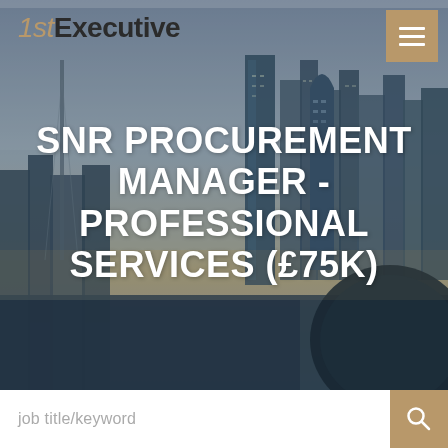[Figure (screenshot): Hero image with London city skyline at dusk/night showing skyscrapers including the Walkie-Talkie building, with a blue/grey tonal overlay and warm golden tone near horizon]
1st Executive
SNR PROCUREMENT MANAGER - PROFESSIONAL SERVICES (£75K)
job title/keyword